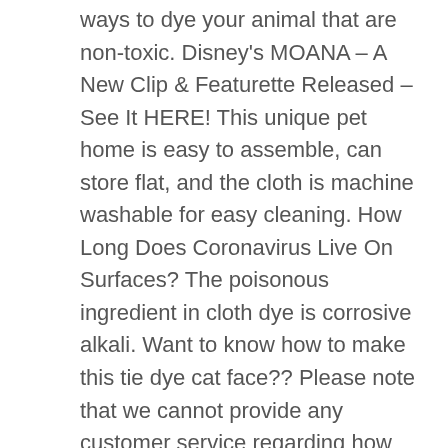ways to dye your animal that are non-toxic. Disney's MOANA – A New Clip & Featurette Released – See It HERE! This unique pet home is easy to assemble, can store flat, and the cloth is machine washable for easy cleaning. How Long Does Coronavirus Live On Surfaces? The poisonous ingredient in cloth dye is corrosive alkali. Want to know how to make this tie dye cat face?? Please note that we cannot provide any customer service regarding how much dye you'll need for your project. Caring for Your Dyed Pet Avoid letting your pet lick the dye. Cat Yoga is the Genius Hot Trend Saving Feline Lives, Cats and Medications – Antibiotic Info Pet Owners Need to Know, New Study Proves Cats are Just as Trainable as Dogs – Here's The Surprising Reason Why, The REAL Reason Your Cat Scratches Furniture, Cat Drooling – Concerning Cat Behavior Needs a Vet Visit, Natural Herbs to Improve Your Cat's Health – Great